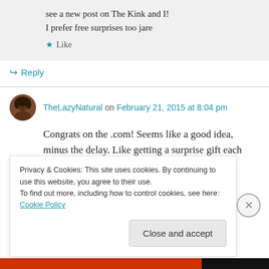see a new post on The Kink and I!
I prefer free surprises too jare
★ Like
↳ Reply
TheLazyNatural on February 21, 2015 at 8:04 pm
Congrats on the .com! Seems like a good idea, minus the delay. Like getting a surprise gift each month (only you pay for it 😑)
Privacy & Cookies: This site uses cookies. By continuing to use this website, you agree to their use.
To find out more, including how to control cookies, see here: Cookie Policy
Close and accept